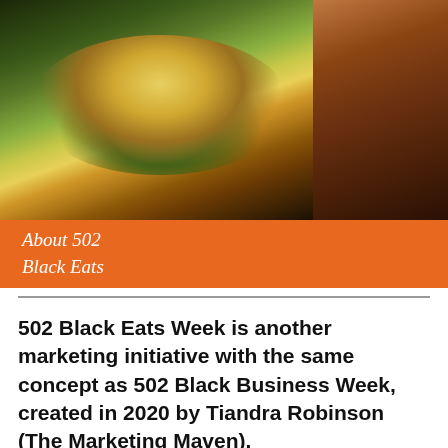[Figure (photo): Banner image showing a lettuce-wrapped burger on the left and a woman at a food event on the right, with an orange bar at the bottom reading 'About 502 Black Eats']
About 502 Black Eats
502 Black Eats Week is another marketing initiative with the same concept as 502 Black Business Week, created in 2020 by Tiandra Robinson (The Marketing Maven).
The mission of 502 Black Eats Week is to promote all the wonderful food-based businesses in the city of Louisville. It is meant to encourage patronage, increase exposure, and increase sales before, during, and after the week,